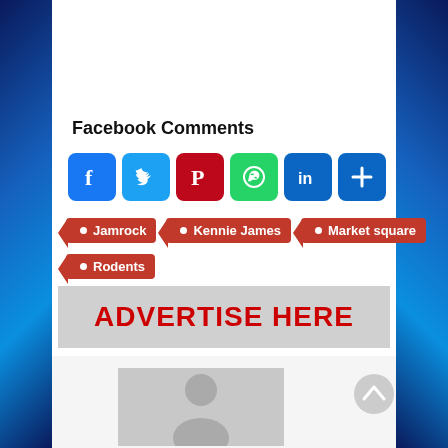Facebook Comments
[Figure (infographic): Row of social media share buttons: Facebook (blue), Twitter (light blue), Pinterest (red), WhatsApp (green), LinkedIn (blue), Share/More (blue with plus)]
Jamrock
Kennie James
Market square
Rodents
[Figure (infographic): Gray advertisement banner with red bold text reading ADVERTISE HERE]
[Figure (photo): Gray placeholder profile image with person silhouette]